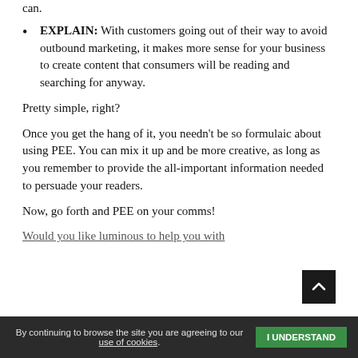can.
EXPLAIN: With customers going out of their way to avoid outbound marketing, it makes more sense for your business to create content that consumers will be reading and searching for anyway.
Pretty simple, right?
Once you get the hang of it, you needn't be so formulaic about using PEE. You can mix it up and be more creative, as long as you remember to provide the all-important information needed to persuade your readers.
Now, go forth and PEE on your comms!
Would you like luminous to help you with
By continuing to browse the site you are agreeing to our use of cookies. I UNDERSTAND